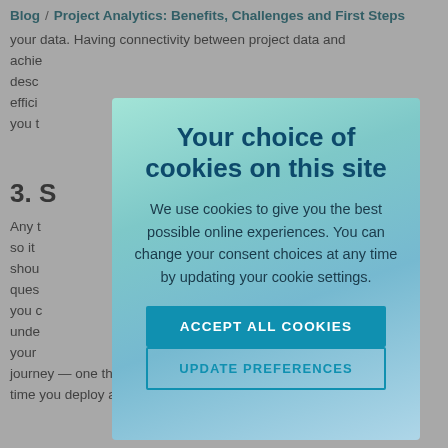Blog / Project Analytics: Benefits, Challenges and First Steps
your data. Having connectivity between project data and achie... desc... effici... or you t...
3. S
Any t... ceful so it... n shou... e ques... than you c... unde... d your... a journey — one that's going to add incremental value every time you deploy a new model or a new analytic.
[Figure (screenshot): Cookie consent modal dialog overlaying a blog page. Modal has gradient blue-green background with title 'Your choice of cookies on this site', body text about cookies, and two buttons: 'ACCEPT ALL COOKIES' and 'UPDATE PREFERENCES'.]